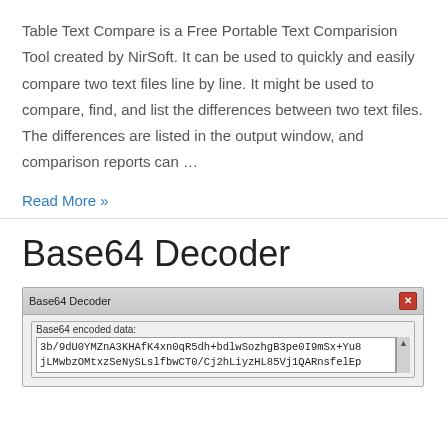Table Text Compare is a Free Portable Text Comparision Tool created by NirSoft. It can be used to quickly and easily compare two text files line by line. It might be used to compare, find, and list the differences between two text files. The differences are listed in the output window, and comparison reports can …
Read More »
Base64 Decoder
[Figure (screenshot): Screenshot of the Base64 Decoder application window showing a text area with 'Base64 encoded data:' label containing encoded text: 3b/9dU0YMZnA3KHAfK4xn0qR5dh+bdlwSozhgB3pe0I9mSx+Yu8 and jLMwbzOMtxzSeNySLslfbwCT0/Cj2hLiyzHL85Vj1QARnsfelEp]